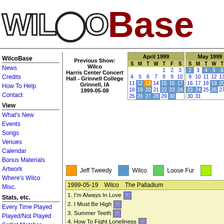[Figure (logo): WilcoBase logo with stylized WILCO in outline font and Base in dark red]
WilcoBase
News
Credits
How To Help
Contact
View
What's New
Events
Songs
Venues
Calendar
Bonus Materials
Artwork
Where's Wilco
Misc.
Stats, etc.
Every Time Played
Played/Not Played
Setlist Matcher
Songs Played
First/Last Time
Previous Show: Wilco Harris Center Concert Hall - Grinnell College Grinnell, IA 1999-05-08
| April 1999 | S | M | T | W | T | F | S |
| --- | --- | --- | --- | --- | --- | --- | --- |
|  |  |  |  | 1 | 2 | 3 |
| 4 | 5 | 6 | 7 | 8 | 9 | 10 |
| 11 | 12 | 13 | 14 | 15 | 16 | 17 |
| 18 | 19 | 20 | 21 | 22 | 23 | 24 |
| 25 | 26 | 27 | 28 | 29 | 30 |  |
| May 1999 | S | M | T | W | T | F |
| --- | --- | --- | --- | --- | --- | --- |
| 2 | 3 | 4 | 5 | 6 | 7 |
| 9 | 10 | 11 | 12 | 13 | 14 |
| 16 | 17 | 18 | 19 | 20 | 21 |
| 23 | 24 | 25 | 26 | 27 | 28 |
| 30 | 31 |  |  |  |  |  |
Jeff Tweedy   Wilco   Loose Fur
| 1999-05-19 | Wilco | The Palladium |
| --- | --- | --- |
1. I'm Always In Love
2. I Must Be High
3. Summer Teeth
4. How To Fight Loneliness
5. Hotel Arizona
6. Nothing'severgonnastandinmyway(again)
7. Red-Eyed And Blue
8. I Got You (At The End Of The Century)
9. She's A Jar
10. A Shot In The Arm
11. We're Just Friends
12. Hesitating Beauty